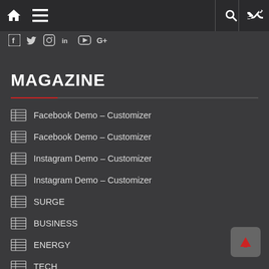Navigation bar with home, menu, search, and shuffle icons
[Figure (screenshot): Social media icon row: Facebook, Twitter, Instagram, LinkedIn, YouTube, Google+]
MAGAZINE
Facebook Demo – Customizer
Facebook Demo – Customizer
Instagram Demo – Customizer
Instagram Demo – Customizer
SURGE
BUSINESS
ENERGY
TECH